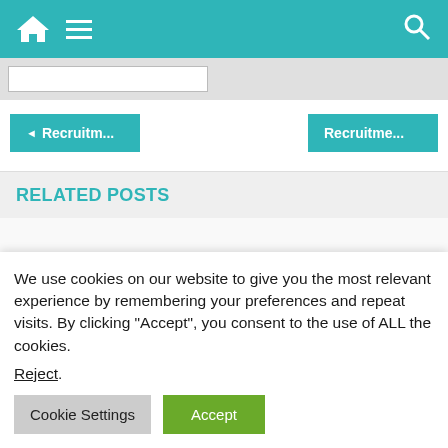Navigation bar with home, menu, and search icons
[Figure (screenshot): Input/search bar area with white input field on grey background]
◄ Recruitm...
Recruitme...
RELATED POSTS
[Figure (photo): Safety/construction themed photo showing an orange hard hat and another helmet on a white background]
We use cookies on our website to give you the most relevant experience by remembering your preferences and repeat visits. By clicking "Accept", you consent to the use of ALL the cookies.
Reject.
Cookie Settings
Accept